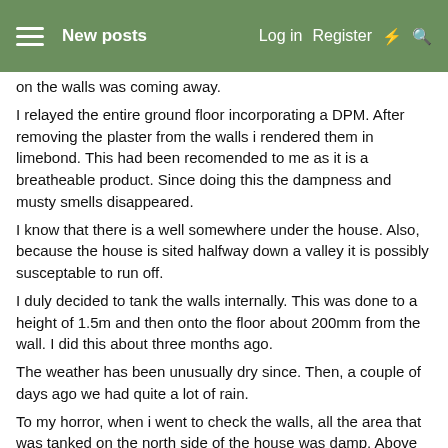New posts  Log in  Register
on the walls was coming away.
I relayed the entire ground floor incorporating a DPM. After removing the plaster from the walls i rendered them in limebond. This had been recomended to me as it is a breatheable product. Since doing this the dampness and musty smells disappeared.
I know that there is a well somewhere under the house. Also, because the house is sited halfway down a valley it is possibly susceptable to run off.
I duly decided to tank the walls internally. This was done to a height of 1.5m and then onto the floor about 200mm from the wall. I did this about three months ago.
The weather has been unusually dry since. Then, a couple of days ago we had quite a lot of rain.
To my horror, when i went to check the walls, all the area that was tanked on the north side of the house was damp. Above the tanking the limebond render was dry.
I am wondering if the recent weather may have affected the water table beneath the house and that the tanking has somehow exacerbated the problem. Does anyone out there